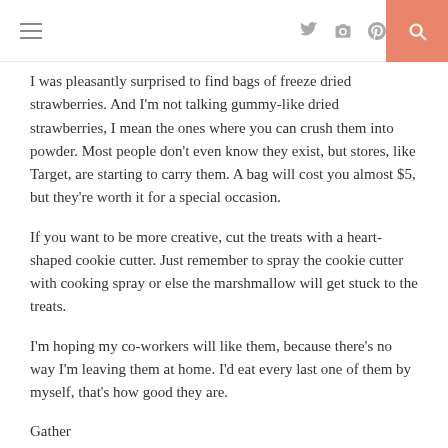≡   [twitter] [instagram] [pinterest] [search]
I was pleasantly surprised to find bags of freeze dried strawberries. And I'm not talking gummy-like dried strawberries, I mean the ones where you can crush them into powder. Most people don't even know they exist, but stores, like Target, are starting to carry them. A bag will cost you almost $5, but they're worth it for a special occasion.
If you want to be more creative, cut the treats with a heart-shaped cookie cutter. Just remember to spray the cookie cutter with cooking spray or else the marshmallow will get stuck to the treats.
I'm hoping my co-workers will like them, because there's no way I'm leaving them at home. I'd eat every last one of them by myself, that's how good they are.
Gather
3 Tablespoons butter